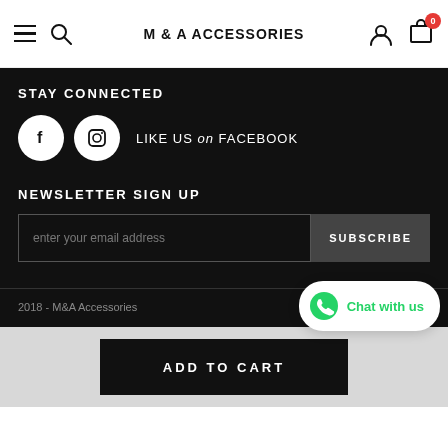M & A ACCESSORIES
STAY CONNECTED
LIKE US on FACEBOOK
NEWSLETTER SIGN UP
enter your email address
SUBSCRIBE
2018 - M&A Accessories
Chat with us
ADD TO CART